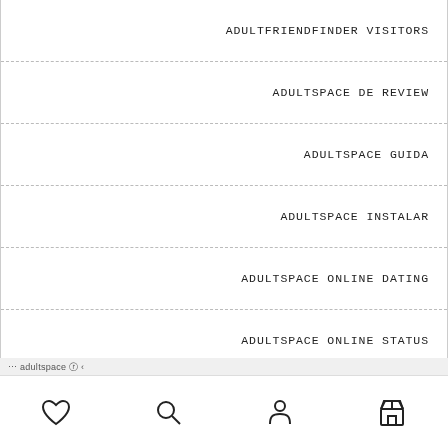ADULTFRIENDFINDER VISITORS
ADULTSPACE DE REVIEW
ADULTSPACE GUIDA
ADULTSPACE INSTALAR
ADULTSPACE ONLINE DATING
ADULTSPACE ONLINE STATUS
ADULTSPACE RANDKI APP
ADULTSPACE REVIEW
navigation bar with heart, search, person, and store icons